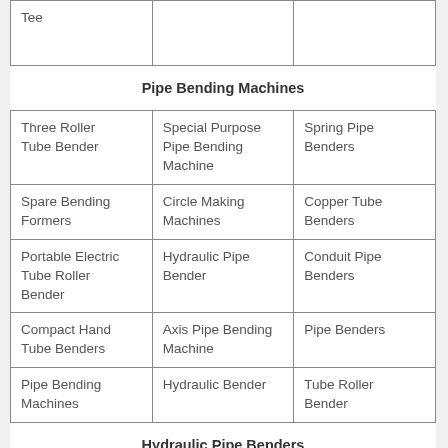| Tee |  |  |
| Pipe Bending Machines (merged header) |  |  |
| Three Roller Tube Bender | Special Purpose Pipe Bending Machine | Spring Pipe Benders |
| Spare Bending Formers | Circle Making Machines | Copper Tube Benders |
| Portable Electric Tube Roller Bender | Hydraulic Pipe Bender | Conduit Pipe Benders |
| Compact Hand Tube Benders | Axis Pipe Bending Machine | Pipe Benders |
| Pipe Bending Machines | Hydraulic Bender | Tube Roller Bender |
| Hydraulic Pipe Benders (merged header) |  |  |